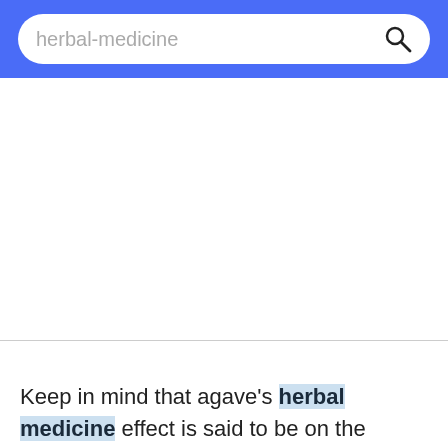herbal-medicine
Keep in mind that agave's herbal medicine effect is said to be on the stomach and to help constipation, so you may simply be taking too much and stimulating the digestive tract too much